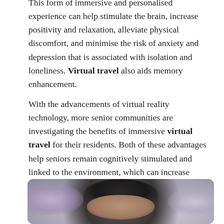This form of immersive and personalised experience can help stimulate the brain, increase positivity and relaxation, alleviate physical discomfort, and minimise the risk of anxiety and depression that is associated with isolation and loneliness. Virtual travel also aids memory enhancement.
With the advancements of virtual reality technology, more senior communities are investigating the benefits of immersive virtual travel for their residents. Both of these advantages help seniors remain cognitively stimulated and linked to the environment, which can increase everyone's quality of life.
[Figure (photo): A close-up photo of a person with dark hair, with blurred bokeh background in purple and light tones.]